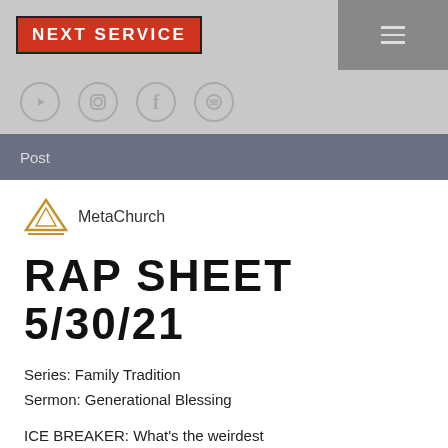[Figure (screenshot): Website header with NEXT SERVICE logo in red box, hamburger menu icon, social media icons (YouTube, Instagram, Facebook, Spotify), and navigation bar with 'Post' label]
[Figure (logo): MetaChurch logo - triangle/mountain icon in gold/orange with horizontal line below, next to text 'MetaChurch']
RAP SHEET 5/30/21
Series: Family Tradition
Sermon: Generational Blessing
ICE BREAKER: What's the weirdest